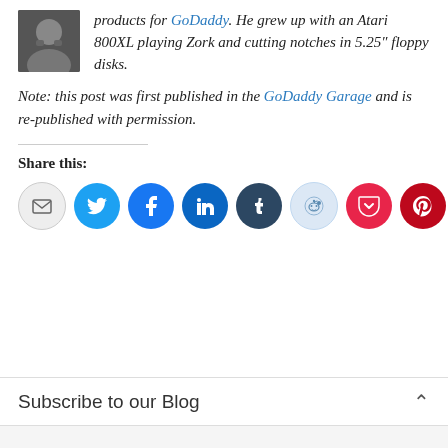[Figure (photo): Black and white headshot photo of a bearded man]
products for GoDaddy. He grew up with an Atari 800XL playing Zork and cutting notches in 5.25″ floppy disks.
Note: this post was first published in the GoDaddy Garage and is re-published with permission.
Share this:
[Figure (infographic): Row of social media share icon buttons: Email, Twitter, Facebook, LinkedIn, Tumblr, Reddit, Pocket, Pinterest]
Subscribe to our Blog